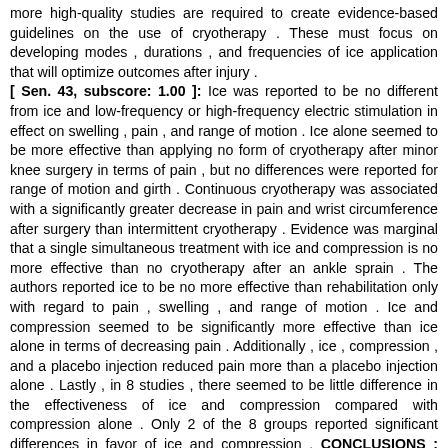more high-quality studies are required to create evidence-based guidelines on the use of cryotherapy . These must focus on developing modes , durations , and frequencies of ice application that will optimize outcomes after injury . [ Sen. 43, subscore: 1.00 ]: Ice was reported to be no different from ice and low-frequency or high-frequency electric stimulation in effect on swelling , pain , and range of motion . Ice alone seemed to be more effective than applying no form of cryotherapy after minor knee surgery in terms of pain , but no differences were reported for range of motion and girth . Continuous cryotherapy was associated with a significantly greater decrease in pain and wrist circumference after surgery than intermittent cryotherapy . Evidence was marginal that a single simultaneous treatment with ice and compression is no more effective than no cryotherapy after an ankle sprain . The authors reported ice to be no more effective than rehabilitation only with regard to pain , swelling , and range of motion . Ice and compression seemed to be significantly more effective than ice alone in terms of decreasing pain . Additionally , ice , compression , and a placebo injection reduced pain more than a placebo injection alone . Lastly , in 8 studies , there seemed to be little difference in the effectiveness of ice and compression compared with compression alone . Only 2 of the 8 groups reported significant differences in favor of ice and compression . CONCLUSIONS : Based on the available evidence , cryotherapy seems to be effective in decreasing pain . In comparison with other rehabilitation techniques , the efficacy of cryotherapy has been questioned . The exact effect of cryotherapy on more frequently treated acute injuries ( eg , muscle strains and contusions ) has not been fully elucidated . Additionally , the low methodologic quality of the available evidence is of concern . Many more high-quality studies are required to create evidence-based guidelines on the use of cryotherapy . These must focus on developing modes , durations , and frequencies of ice application that will optimize